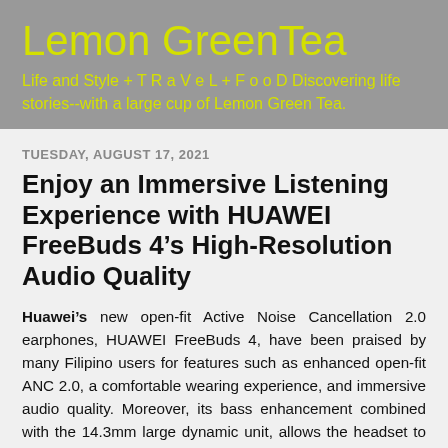Lemon GreenTea
Life and Style + T R a V e L + F o o D Discovering life stories--with a large cup of Lemon Green Tea.
TUESDAY, AUGUST 17, 2021
Enjoy an Immersive Listening Experience with HUAWEI FreeBuds 4’s High-Resolution Audio Quality
Huawei’s new open-fit Active Noise Cancellation 2.0 earphones, HUAWEI FreeBuds 4, have been praised by many Filipino users for features such as enhanced open-fit ANC 2.0, a comfortable wearing experience, and immersive audio quality. Moreover, its bass enhancement combined with the 14.3mm large dynamic unit, allows the headset to maintain a consistently high level of sound quality.